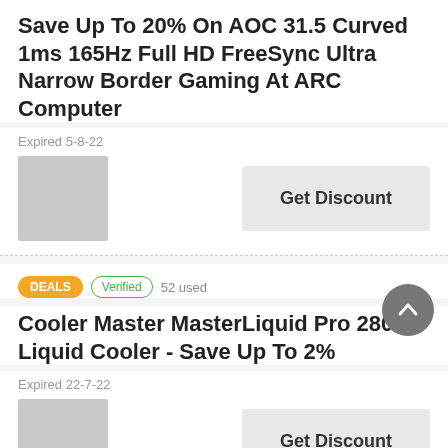Save Up To 20% On AOC 31.5 Curved 1ms 165Hz Full HD FreeSync Ultra Narrow Border Gaming At ARC Computer
Expired 5-8-22
[Figure (other): Gray placeholder image for product]
Get Discount
DEALS  Verified  52 used
Cooler Master MasterLiquid Pro 280 Liquid Cooler - Save Up To 2%
Expired 22-7-22
[Figure (other): Gray placeholder image for product]
Get Discount
DEALS